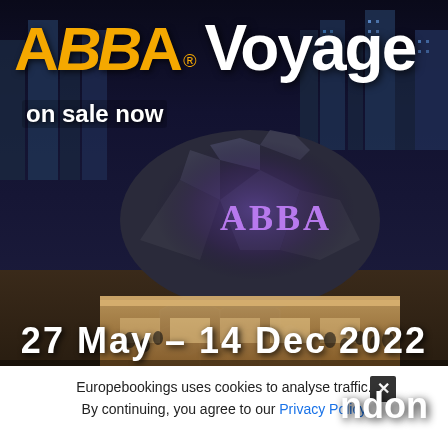[Figure (photo): Aerial night view of ABBA Arena (ABBA Voyage concert venue), a futuristic domed building with hexagonal roof panels lit up with ABBA logo in purple lights, surrounded by crowds of people, set against a city skyline at night.]
ABBA® Voyage
on sale now
27 May – 14 Dec 2022
london
Europebookings uses cookies to analyse traffic. By continuing, you agree to our Privacy Policy